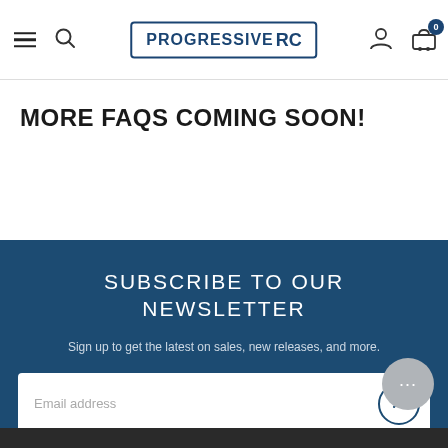PROGRESSIVE RC
MORE FAQS COMING SOON!
SUBSCRIBE TO OUR NEWSLETTER
Sign up to get the latest on sales, new releases, and more.
Email address
SUBSCRIBE